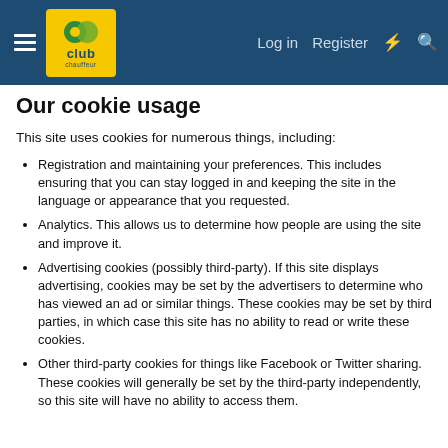Club Chauffeur — Log in | Register
Our cookie usage
This site uses cookies for numerous things, including:
Registration and maintaining your preferences. This includes ensuring that you can stay logged in and keeping the site in the language or appearance that you requested.
Analytics. This allows us to determine how people are using the site and improve it.
Advertising cookies (possibly third-party). If this site displays advertising, cookies may be set by the advertisers to determine who has viewed an ad or similar things. These cookies may be set by third parties, in which case this site has no ability to read or write these cookies.
Other third-party cookies for things like Facebook or Twitter sharing. These cookies will generally be set by the third-party independently, so this site will have no ability to access them.